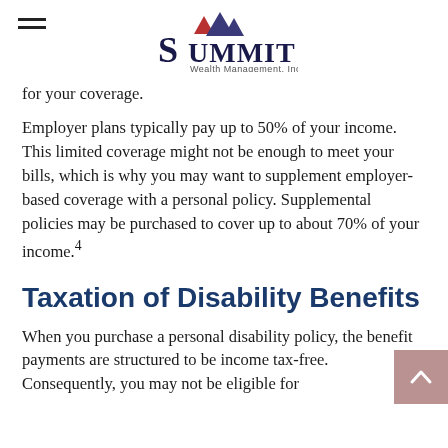Summit Wealth Management, Inc.
for your coverage.
Employer plans typically pay up to 50% of your income. This limited coverage might not be enough to meet your bills, which is why you may want to supplement employer-based coverage with a personal policy. Supplemental policies may be purchased to cover up to about 70% of your income.4
Taxation of Disability Benefits
When you purchase a personal disability policy, the benefit payments are structured to be income tax-free. Consequently, you may not be eligible for